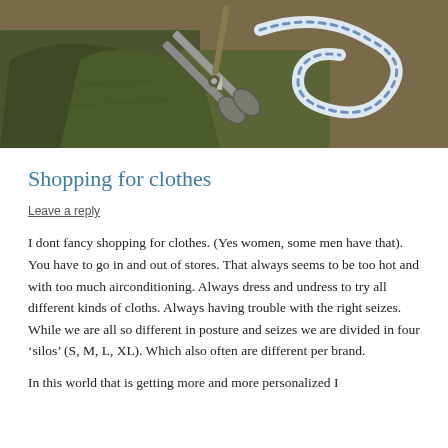[Figure (photo): Close-up photo of tailoring tools on green fabric: large scissors/shears, a striped measuring tape, and what appears to be a seam ripper or awl, on a brown background]
Shopping for clothes
Leave a reply
I dont fancy shopping for clothes. (Yes women, some men have that). You have to go in and out of stores. That always seems to be too hot and with too much airconditioning. Always dress and undress to try all different kinds of cloths. Always having trouble with the right seizes. While we are all so different in posture and seizes we are divided in four ‘silos’ (S, M, L, XL). Which also often are different per brand.
In this world that is getting more and more personalized I